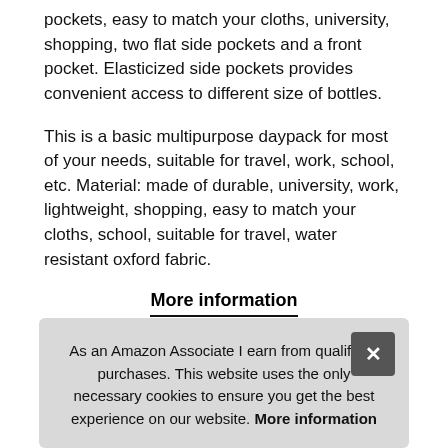pockets, easy to match your cloths, university, shopping, two flat side pockets and a front pocket. Elasticized side pockets provides convenient access to different size of bottles.
This is a basic multipurpose daypack for most of your needs, suitable for travel, work, school, etc. Material: made of durable, university, work, lightweight, shopping, easy to match your cloths, school, suitable for travel, water resistant oxford fabric.
More information
Warranty: 2 years warranty for quality issues from the date of purchased. Any question please do not hesitate to contact us, we're aim to provide satisfactory solution. Sturdy zipper:the bac and Dou strap:adjustable shoulder strap with two press stud toggle, to
As an Amazon Associate I earn from qualifying purchases. This website uses the only necessary cookies to ensure you get the best experience on our website. More information